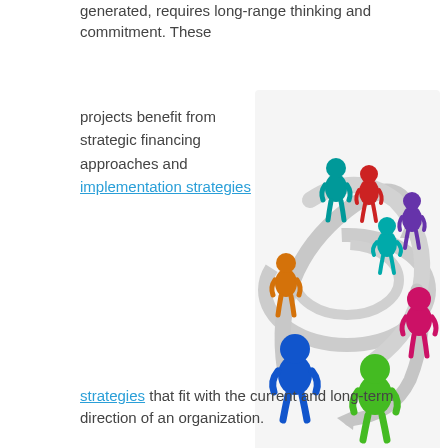generated, requires long-range thinking and commitment. These
projects benefit from strategic financing approaches and implementation strategies that fit with the current and long-term direction of an organization.
[Figure (illustration): 3D colorful human figures (orange, teal/green, red, teal, purple, magenta/pink, blue, green) arranged around circular/spiral arrows indicating collaboration or networking cycle.]